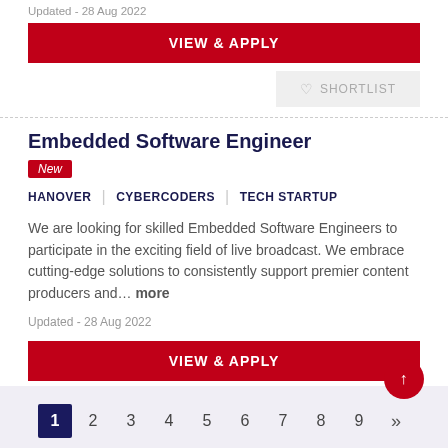Updated - 28 Aug 2022
VIEW & APPLY
SHORTLIST
Embedded Software Engineer
New
HANOVER | CYBERCODERS | TECH STARTUP
We are looking for skilled Embedded Software Engineers to participate in the exciting field of live broadcast. We embrace cutting-edge solutions to consistently support premier content producers and... more
Updated - 28 Aug 2022
VIEW & APPLY
SHORTLIST
1 2 3 4 5 6 7 8 9 »